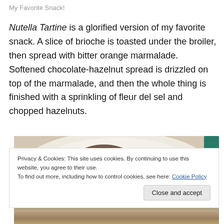My Favorite Snack!
Nutella Tartine is a glorified version of my favorite snack. A slice of brioche is toasted under the broiler, then spread with bitter orange marmalade.  Softened chocolate-hazelnut spread is drizzled on top of the marmalade, and then the whole thing is finished with a sprinkling of fleur del sel and chopped hazelnuts.
[Figure (photo): Photo of a Nutella Tartine on a white plate, partially eaten, showing dark chocolate-hazelnut spread with a teal bowl visible in the corner]
Privacy & Cookies: This site uses cookies. By continuing to use this website, you agree to their use.
To find out more, including how to control cookies, see here: Cookie Policy
Close and accept